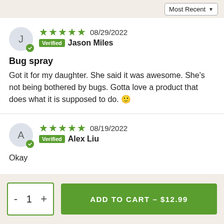Most Recent ▼
★★★★★ 08/29/2022 Verified Jason Miles
Bug spray
Got it for my daughter. She said it was awesome. She's not being bothered by bugs. Gotta love a product that does what it is supposed to do. 🙂
★★★★★ 08/19/2022 Verified Alex Liu
Okay
ADD TO CART – $12.99